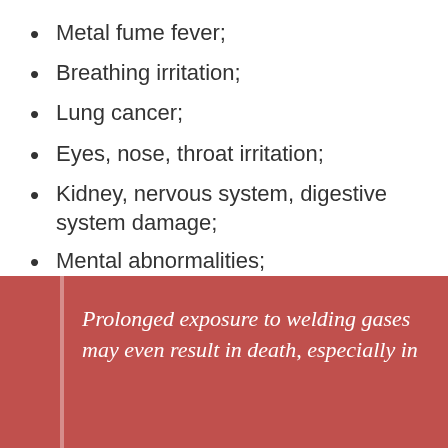Metal fume fever;
Breathing irritation;
Lung cancer;
Eyes, nose, throat irritation;
Kidney, nervous system, digestive system damage;
Mental abnormalities;
Dizziness;
Asphyxiation.
Prolonged exposure to welding gases may even result in death, especially in